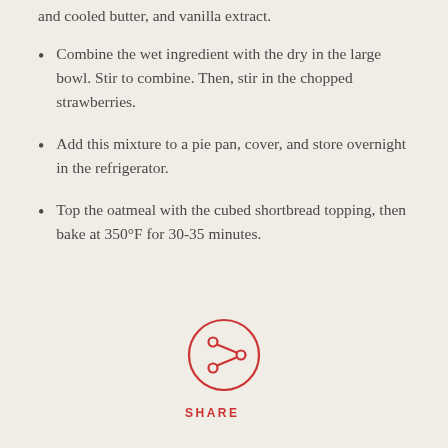and cooled butter, and vanilla extract.
Combine the wet ingredient with the dry in the large bowl. Stir to combine. Then, stir in the chopped strawberries.
Add this mixture to a pie pan, cover, and store overnight in the refrigerator.
Top the oatmeal with the cubed shortbread topping, then bake at 350°F for 30-35 minutes.
[Figure (illustration): A circular share button icon with a share/network symbol inside, drawn in red outline, with the word SHARE below in red uppercase letters with letter-spacing.]